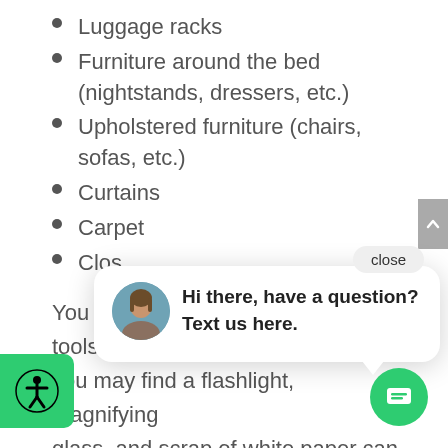Luggage racks
Furniture around the bed (nightstands, dressers, etc.)
Upholstered furniture (chairs, sofas, etc.)
Curtains
Carpet
Clos[et — partially obscured by chat widget]
You do[not need professional] tools to detect bed bugs. However, you may find a flashlight, magnifying glass, and scrap of white paper can help. There are a handful of
[Figure (screenshot): Chat widget overlay with close button, avatar photo of a woman, and message 'Hi there, have a question? Text us here.' A green chat button and an accessibility button are also visible.]